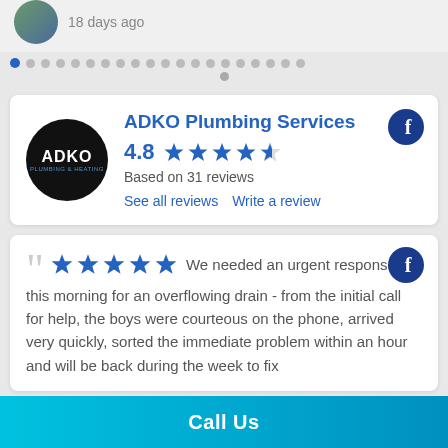18 days ago
[Figure (other): Carousel dot navigation with first dot active (blue), remaining dots gray, and one separate dot below]
[Figure (other): ADKO Plumbing Services business card with logo, rating 4.8 stars, based on 31 reviews, Facebook icon, See all reviews and Write a review links]
ADKO Plumbing Services
4.8
Based on 31 reviews
See all reviews   Write a review
[Figure (other): Review card with 5 gold/blue stars and quote: We needed an urgent response this morning for an overflowing drain - from the initial call for help, the boys were courteous on the phone, arrived very quickly, sorted the immediate problem within an hour and will be back during the week to fix]
We needed an urgent response this morning for an overflowing drain - from the initial call for help, the boys were courteous on the phone, arrived very quickly, sorted the immediate problem within an hour and will be back during the week to fix
Call Us